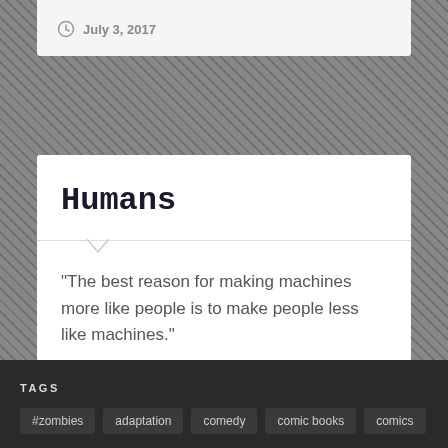July 3, 2017
Humans
“The best reason for making machines more like people is to make people less like machines.”
July 4, 2015
TAGS
#zombies
adaptation
comedy
comic books
comics